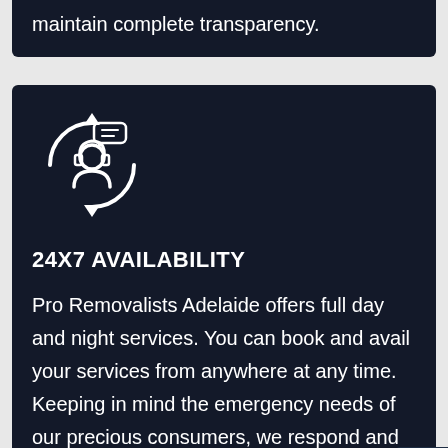maintain complete transparency.
[Figure (illustration): Customer support icon: a person with headset inside circular arrows, with a chat bubble above, white line art on dark background]
24X7 AVAILABILITY
Pro Removalists Adelaide offers full day and night services. You can book and avail your services from anywhere at any time. Keeping in mind the emergency needs of our precious consumers, we respond and serve to the ones